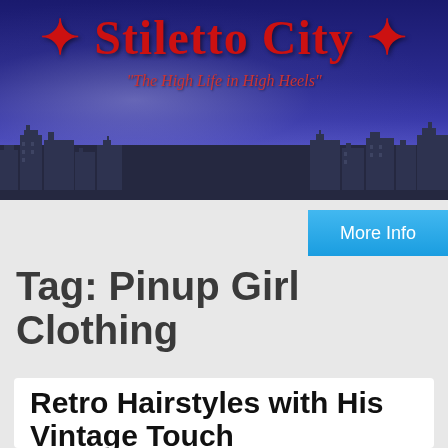[Figure (illustration): Stiletto City website header banner with dark blue background, city skyline silhouette, red serif title text 'Stiletto City' with star decorations, and italic tagline '"The High Life in High Heels"']
More Info
Tag: Pinup Girl Clothing
Retro Hairstyles with His Vintage Touch